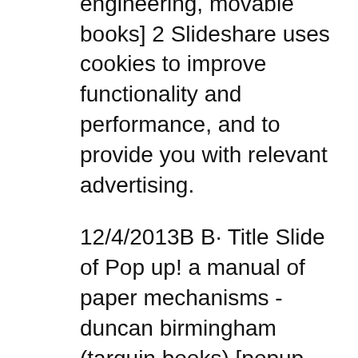papercraft, paper engineering, movable books] 2 Slideshare uses cookies to improve functionality and performance, and to provide you with relevant advertising.
12/4/2013B B· Title Slide of Pop up! a manual of paper mechanisms - duncan birmingham (tarquin books) [popup, papercraft, paper engineering, movable books] 2 Slideshare uses cookies to improve functionality and performance, and to provide you with relevant advertising. Libros Pop-Up Books Cards: Descarga Gratis Libro Phantastische Papier (Kirigami) de Ramin Razani en Formato PDF Free Download. So Pretty! Pop up! a manual of paper mechanisms